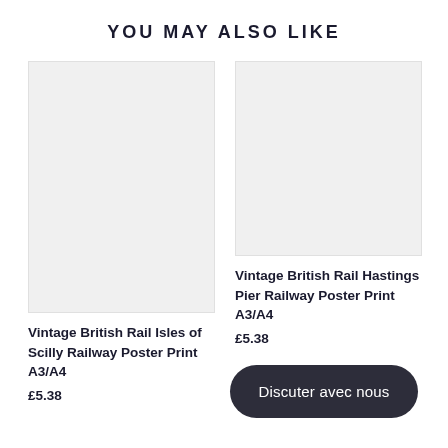YOU MAY ALSO LIKE
[Figure (photo): Blank light grey product image placeholder for Vintage British Rail Isles of Scilly Railway Poster Print A3/A4]
Vintage British Rail Isles of Scilly Railway Poster Print A3/A4
£5.38
[Figure (photo): Blank light grey product image placeholder for Vintage British Rail Hastings Pier Railway Poster Print A3/A4]
Vintage British Rail Hastings Pier Railway Poster Print A3/A4
£5.38
Discuter avec nous